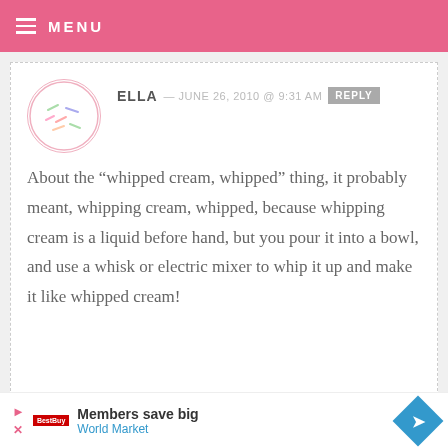MENU
ELLA — JUNE 26, 2010 @ 9:31 AM  REPLY
About the “whipped cream, whipped” thing, it probably meant, whipping cream, whipped, because whipping cream is a liquid before hand, but you pour it into a bowl, and use a whisk or electric mixer to whip it up and make it like whipped cream!
Members save big
World Market